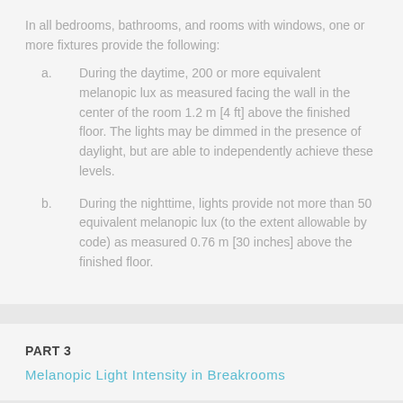In all bedrooms, bathrooms, and rooms with windows, one or more fixtures provide the following:
a. During the daytime, 200 or more equivalent melanopic lux as measured facing the wall in the center of the room 1.2 m [4 ft] above the finished floor. The lights may be dimmed in the presence of daylight, but are able to independently achieve these levels.
b. During the nighttime, lights provide not more than 50 equivalent melanopic lux (to the extent allowable by code) as measured 0.76 m [30 inches] above the finished floor.
PART 3
Melanopic Light Intensity in Breakrooms